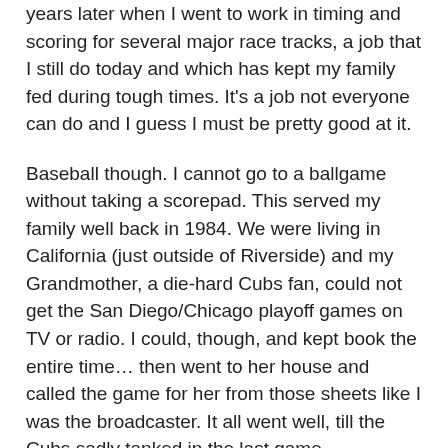years later when I went to work in timing and scoring for several major race tracks, a job that I still do today and which has kept my family fed during tough times. It's a job not everyone can do and I guess I must be pretty good at it.
Baseball though. I cannot go to a ballgame without taking a scorepad. This served my family well back in 1984. We were living in California (just outside of Riverside) and my Grandmother, a die-hard Cubs fan, could not get the San Diego/Chicago playoff games on TV or radio. I could, though, and kept book the entire time… then went to her house and called the game for her from those sheets like I was the broadcaster. It all went well, till the Cubs sadly tanked in the last game…